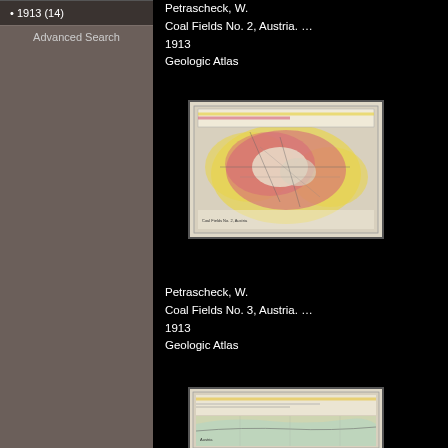1913 (14)
Advanced Search
Petrascheck, W.
Coal Fields No. 2, Austria. …
1913
Geologic Atlas
[Figure (map): Geologic map of coal fields, Austria No. 2, showing pink and yellow geological formations with network of lines]
Petrascheck, W.
Coal Fields No. 3, Austria. …
1913
Geologic Atlas
[Figure (map): Geologic map of coal fields, Austria No. 3, partial view showing layered geological cross-sections and map]